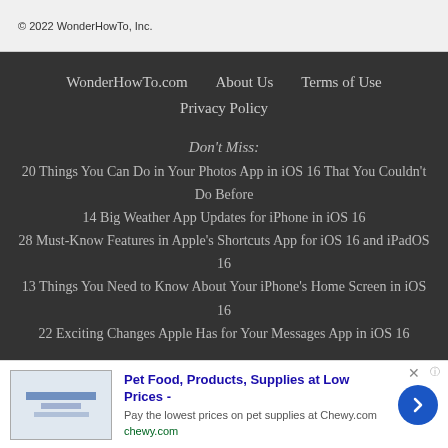© 2022 WonderHowTo, Inc.
WonderHowTo.com   About Us   Terms of Use
Privacy Policy
Don't Miss:
20 Things You Can Do in Your Photos App in iOS 16 That You Couldn't Do Before
14 Big Weather App Updates for iPhone in iOS 16
28 Must-Know Features in Apple's Shortcuts App for iOS 16 and iPadOS 16
13 Things You Need to Know About Your iPhone's Home Screen in iOS 16
22 Exciting Changes Apple Has for Your Messages App in iOS 16
[Figure (other): Advertisement banner for Chewy.com pet food and supplies]